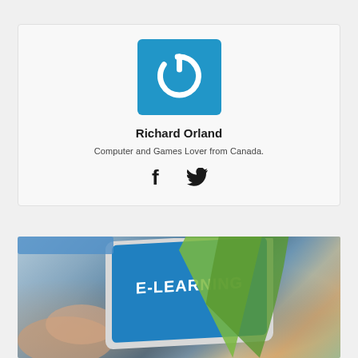[Figure (logo): Blue square logo with white power/on button icon (circular arc with a notch at top)]
Richard Orland
Computer and Games Lover from Canada.
[Figure (illustration): Social media icons: Facebook (f) and Twitter (bird) in dark color]
[Figure (photo): Photo of a hand holding a tablet displaying 'E-LEARNING' on a blue screen, with stationery and plant in background]